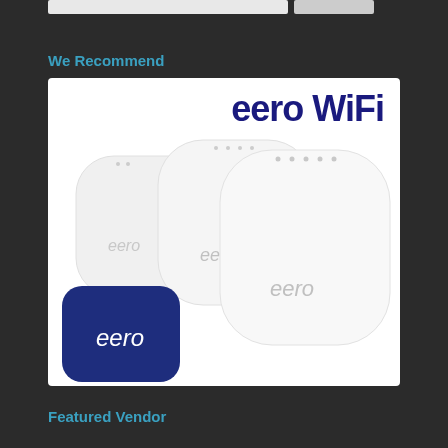We Recommend
[Figure (photo): eero WiFi mesh router system product image showing three white rounded square eero devices stacked/arranged together, with the eero app icon (dark blue rounded square with white 'eero' text) in the lower left. Large bold dark blue 'eero WiFi' text at the top of the image on a white background.]
Featured Vendor